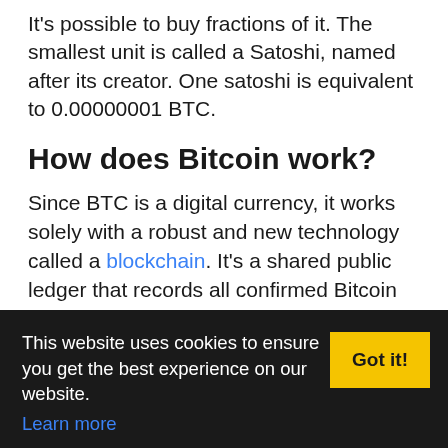It's possible to buy fractions of it. The smallest unit is called a Satoshi, named after its creator. One satoshi is equivalent to 0.00000001 BTC.
How does Bitcoin work?
Since BTC is a digital currency, it works solely with a robust and new technology called a blockchain. It's a shared public ledger that records all confirmed Bitcoin transactions. Think of the blockchain as a digital passbook from a traditional bank where your account balance and transactions are tracked and recorded.
This website uses cookies to ensure you get the best experience on our website. Learn more